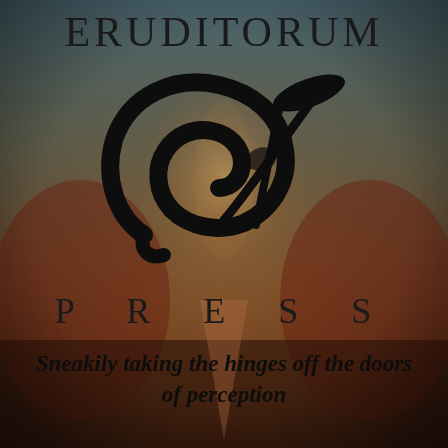[Figure (logo): Eruditorum Press logo: decorative swirling calligraphic 'EP' monogram in black over a muted artistic background illustration (figure in motion, warm earth tones with teal/grey top). Text 'ERUDITORUM' at top and 'P R E S S' below the monogram.]
Sneakily taking the hinges off the doors of perception